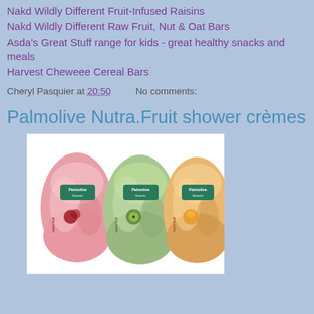Nakd Wildly Different Fruit-Infused Raisins
Nakd Wildly Different Raw Fruit, Nut & Oat Bars
Asda's Great Stuff range for kids - great healthy snacks and meals
Harvest Cheweee Cereal Bars
Cheryl Pasquier at 20:50    No comments:
Palmolive Nutra.Fruit shower crèmes
[Figure (photo): Three Palmolive Naturals Nutra-Fruit shower cream bottles side by side: pink/red (berry), green (kiwi), and orange (peach) variants, each with the Palmolive logo and fruit imagery on the label.]